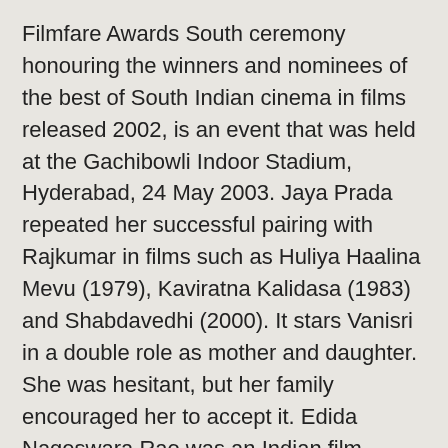Filmfare Awards South ceremony honouring the winners and nominees of the best of South Indian cinema in films released 2002, is an event that was held at the Gachibowli Indoor Stadium, Hyderabad, 24 May 2003. Jaya Prada repeated her successful pairing with Rajkumar in films such as Huliya Haalina Mevu (1979), Kaviratna Kalidasa (1983) and Shabdavedhi (2000). It stars Vanisri in a double role as mother and daughter. She was hesitant, but her family encouraged her to accept it. Edida Nageswara Rao was an Indian film producer in Telugu cinema. He owned the film production house Poornodaya Movie Creations in Tollywood. It will enhance any encyclopedic page you visit with the magic of the WIKI 2 technology. [14] Although she has acted in Bengali films, she has never worked for Ray. She also held the post of Telugu Mahila President.
Jaya Prada was born as Lalita Rani in Rajahmundry, Andhra